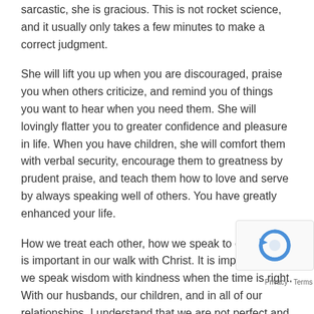sarcastic, she is gracious. This is not rocket science, and it usually only takes a few minutes to make a correct judgment.
She will lift you up when you are discouraged, praise you when others criticize, and remind you of things you want to hear when you need them. She will lovingly flatter you to greater confidence and pleasure in life. When you have children, she will comfort them with verbal security, encourage them to greatness by prudent praise, and teach them how to love and serve by always speaking well of others. You have greatly enhanced your life.
How we treat each other, how we speak to each other, is important in our walk with Christ. It is important that we speak wisdom with kindness when the time is right. With our husbands, our children, and in all of our relationships. I understand that we are not perfect and sometimes, kindness and discernment are the very last things on our minds. I am guilty of that myself, I am a work in progress. But wisdom let's me know that I am striving for progress, not perfection and the scriptures are there to guide in my daily walk with Him.
One day, we will be history. What will our story be for the women